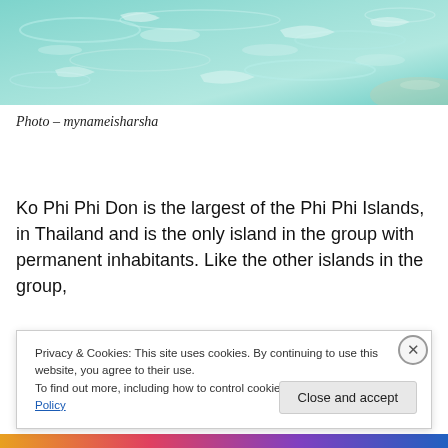[Figure (photo): Turquoise clear water surface with light reflections and ripples, viewed from above.]
Photo – mynameisharsha
Ko Phi Phi Don is the largest of the Phi Phi Islands, in Thailand and is the only island in the group with permanent inhabitants. Like the other islands in the group,
Privacy & Cookies: This site uses cookies. By continuing to use this website, you agree to their use.
To find out more, including how to control cookies, see here: Cookie Policy